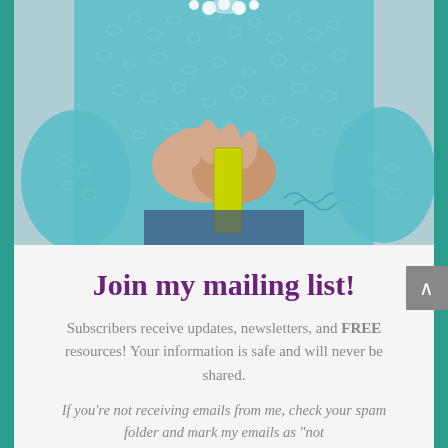[Figure (photo): Woman wearing a teal/turquoise crochet knit cardigan holding a yellow notebook or folder with clasped hands, wearing a white floral necklace]
Join my mailing list!
Subscribers receive updates, newsletters, and FREE resources! Your information is safe and will never be shared.
If you're not receiving emails from me, check your spam folder and mark my emails as "not